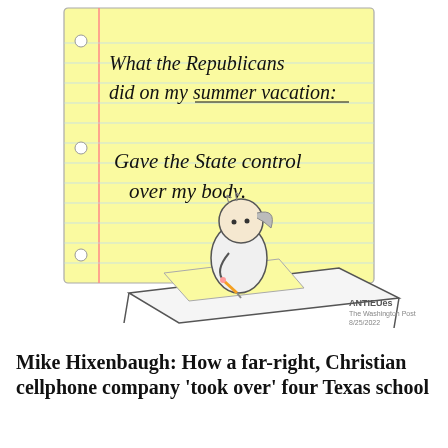[Figure (illustration): Editorial cartoon showing a young girl with a ponytail sitting at a school desk writing on a large yellow lined notepad. The notepad reads: 'What the Republicans did on my summer vacation:' and 'Gave the State control over my body.' Signed 'ANTIEUes / The Washington Post / 8/25/2022'.]
Mike Hixenbaugh: How a far-right, Christian cellphone company 'took over' four Texas school